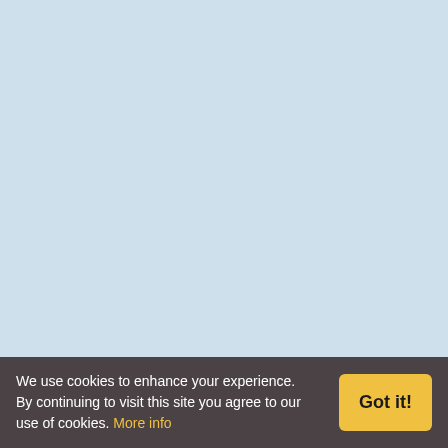€/5months, 42.00,-€/6mo...
Order CardSharing for V...
VIP ALL Pack-Content on Ca... Sky_DE, HD_Plus, SkyLink, Canal_Digital, SRG, MTV, Mo... NTV_Plus_Vostok, Telekarta... CanalDigitaal, TV_Vlaamdere...
[Figure (logo): Sky logo - black italic text on white background]
[Figure (logo): HD+ by ASTRA logo - white text on dark grey background]
[Figure (logo): nc+ logo - white text on blue background]
[Figure (logo): Canal Digital logo - icon with text]
We use cookies to enhance your experience. By continuing to visit this site you agree to our use of cookies. More info
Got it!